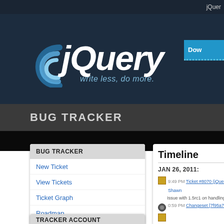jQuery
[Figure (logo): jQuery logo with text 'write less, do more.' on dark blue background]
BUG TRACKER
BUG TRACKER
New Ticket
View Tickets
Ticket Graph
Roadmap
Recent Changes
TRACKER ACCOUNT
Timeline
JAN 26, 2011:
9:49 PM Ticket #8070 (jQuery 1.5rc... Shawn
Issue with 1.5rc1 on handling multip...
0:59 PM Changeset [7f95a73] 1.12-...